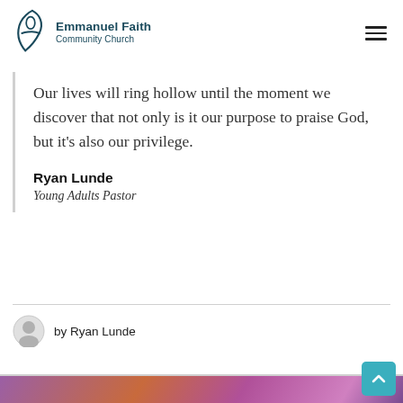Emmanuel Faith Community Church
Our lives will ring hollow until the moment we discover that not only is it our purpose to praise God, but it's also our privilege.
Ryan Lunde
Young Adults Pastor
by Ryan Lunde
[Figure (photo): Bottom portion of image showing colorful fabric or clothing in purple, orange and pink tones]